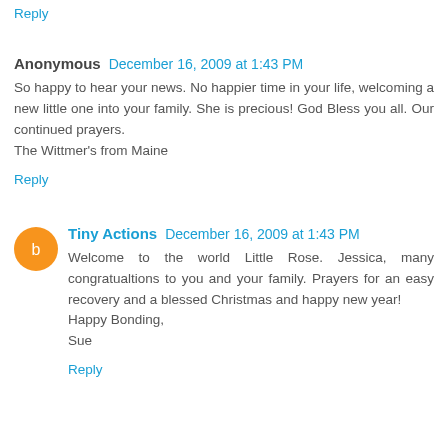Reply
Anonymous  December 16, 2009 at 1:43 PM
So happy to hear your news. No happier time in your life, welcoming a new little one into your family. She is precious! God Bless you all. Our continued prayers.
The Wittmer's from Maine
Reply
Tiny Actions  December 16, 2009 at 1:43 PM
Welcome to the world Little Rose. Jessica, many congratualtions to you and your family. Prayers for an easy recovery and a blessed Christmas and happy new year!
Happy Bonding,
Sue
Reply